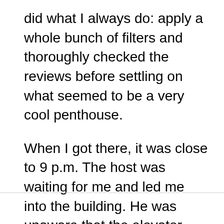did what I always do: apply a whole bunch of filters and thoroughly checked the reviews before settling on what seemed to be a very cool penthouse.
When I got there, it was close to 9 p.m. The host was waiting for me and led me into the building. He was unaware that the elevator was broken – it can happen. Airbnb hosts don't always have a handle on general building things.